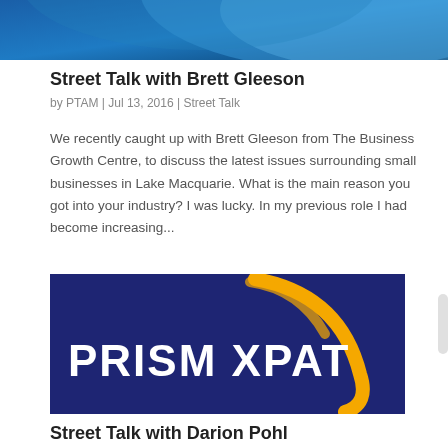[Figure (illustration): Blue curved banner/header graphic at the top of the page]
Street Talk with Brett Gleeson
by PTAM | Jul 13, 2016 | Street Talk
We recently caught up with Brett Gleeson from The Business Growth Centre, to discuss the latest issues surrounding small businesses in Lake Macquarie. What is the main reason you got into your industry? I was lucky. In my previous role I had become increasing...
[Figure (logo): Prism Xpat logo on dark navy blue background with yellow arc graphic. Text reads PRISM XPAT in large white letters.]
Street Talk with Darion Pohl